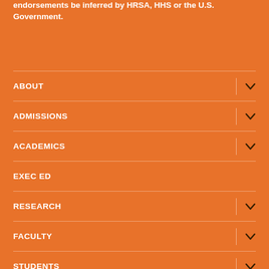endorsements be inferred by HRSA, HHS or the U.S. Government.
ABOUT
ADMISSIONS
ACADEMICS
EXEC ED
RESEARCH
FACULTY
STUDENTS
ALUMNI